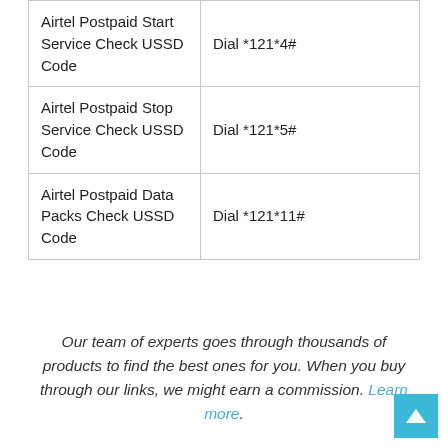|  |  |
| --- | --- |
| Airtel Postpaid Start Service Check USSD Code | Dial *121*4# |
| Airtel Postpaid Stop Service Check USSD Code | Dial *121*5# |
| Airtel Postpaid Data Packs Check USSD Code | Dial *121*11# |
Our team of experts goes through thousands of products to find the best ones for you. When you buy through our links, we might earn a commission. Learn more.